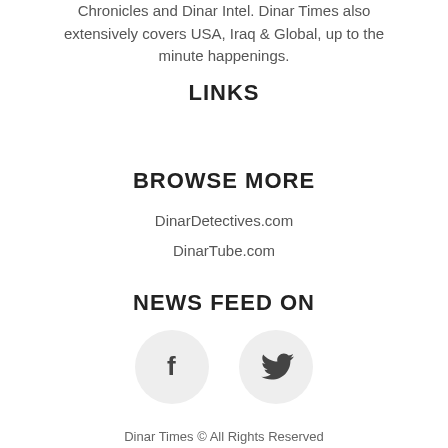Chronicles and Dinar Intel. Dinar Times also extensively covers USA, Iraq & Global, up to the minute happenings.
LINKS
BROWSE MORE
DinarDetectives.com
DinarTube.com
NEWS FEED ON
[Figure (illustration): Two circular social media icons: Facebook (f) and Twitter (bird) on light grey circular backgrounds]
Dinar Times ©  All Rights Reserved